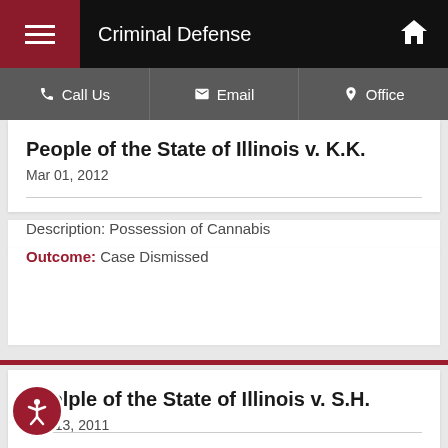Criminal Defense
Call Us | Email | Office
People of the State of Illinois v. K.K.
Mar 01, 2012
Description: Possession of Cannabis
Outcome: Case Dismissed
Peolple of the State of Illinois v. S.H.
Dec 13, 2011
Description: Possession of Cannabis
Outcome: Case Dismissed